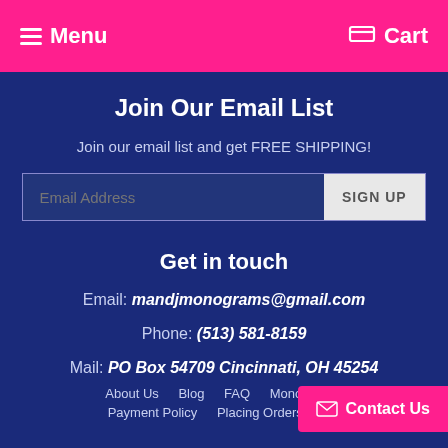Menu   Cart
Join Our Email List
Join our email list and get FREE SHIPPING!
Email Address  SIGN UP
Get in touch
Email: mandjmonograms@gmail.com
Phone: (513) 581-8159
Mail: PO Box 54709 Cincinnati, OH 45254
About Us  Blog  FAQ  Monogramm...  Payment Policy  Placing Orders  P...  Contact Us